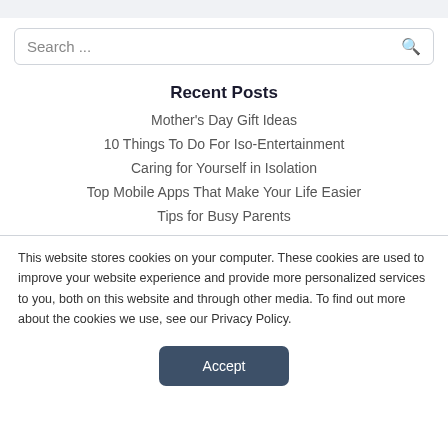Search ...
Recent Posts
Mother's Day Gift Ideas
10 Things To Do For Iso-Entertainment
Caring for Yourself in Isolation
Top Mobile Apps That Make Your Life Easier
Tips for Busy Parents
This website stores cookies on your computer. These cookies are used to improve your website experience and provide more personalized services to you, both on this website and through other media. To find out more about the cookies we use, see our Privacy Policy.
Accept